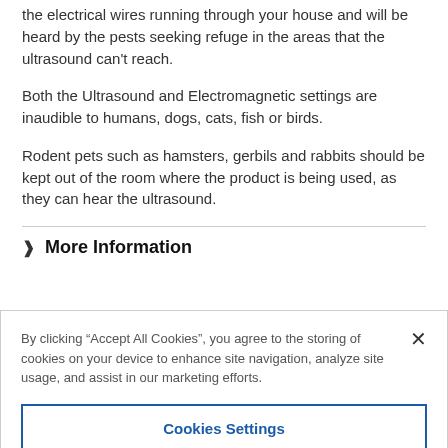the electrical wires running through your house and will be heard by the pests seeking refuge in the areas that the ultrasound can't reach.
Both the Ultrasound and Electromagnetic settings are inaudible to humans, dogs, cats, fish or birds.
Rodent pets such as hamsters, gerbils and rabbits should be kept out of the room where the product is being used, as they can hear the ultrasound.
More Information
By clicking “Accept All Cookies”, you agree to the storing of cookies on your device to enhance site navigation, analyze site usage, and assist in our marketing efforts.
Cookies Settings
Reject All
Accept All Cookies